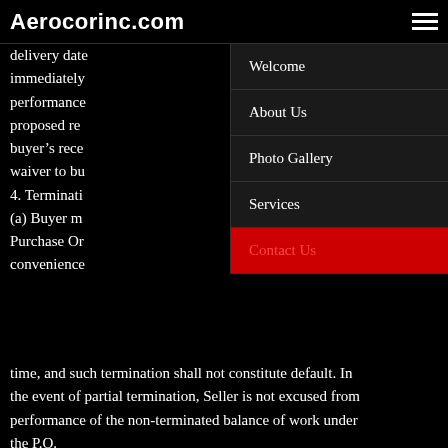Aerocorinc.com
delivery date immediately performance proposed re buyer's rece waiver to bu 4. Terminati (a) Buyer m Purchase Or convenience time, and such termination shall not constitute default. In the event of partial termination, Seller is not excused from performance of the non-terminated balance of work under the P.O.
Welcome
About Us
Photo Gallery
Services
Contact Us
(b) In the event of termination for convenience by Buyer, Seller shall be reimbursed for reasonable and